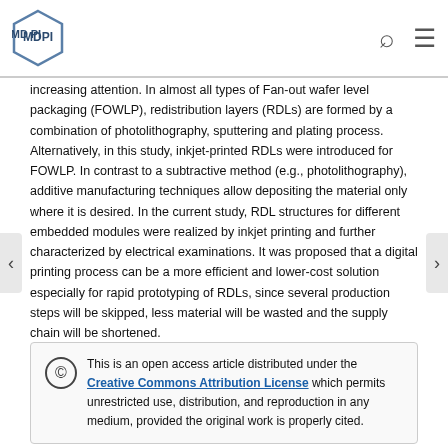MDPI
increasing attention. In almost all types of Fan-out wafer level packaging (FOWLP), redistribution layers (RDLs) are formed by a combination of photolithography, sputtering and plating process. Alternatively, in this study, inkjet-printed RDLs were introduced for FOWLP. In contrast to a subtractive method (e.g., photolithography), additive manufacturing techniques allow depositing the material only where it is desired. In the current study, RDL structures for different embedded modules were realized by inkjet printing and further characterized by electrical examinations. It was proposed that a digital printing process can be a more efficient and lower-cost solution especially for rapid prototyping of RDLs, since several production steps will be skipped, less material will be wasted and the supply chain will be shortened.
Keywords: MEMS packaging; inkjet printing; fan-out wafer level packaging; rdl; rapid prototyping
This is an open access article distributed under the Creative Commons Attribution License which permits unrestricted use, distribution, and reproduction in any medium, provided the original work is properly cited.